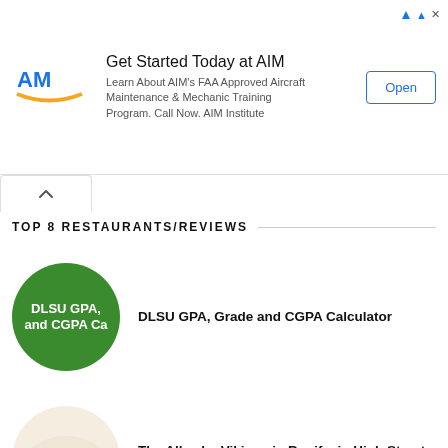[Figure (infographic): AIM Institute advertisement banner with logo, text about FAA Approved Aircraft Maintenance training, and Open button]
TOP 8 RESTAURANTS/REVIEWS
DLSU GPA, Grade and CGPA Calculator
The Alley by Vikings in Bonifacio High Street - P799 only!
Ili-Likha Artist Village - A Hidden Food Park in Baguio City